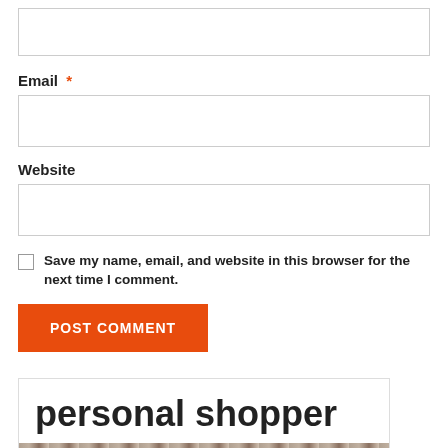[Figure (screenshot): Empty text input box at the top of the form]
Email *
[Figure (screenshot): Email input text field]
Website
[Figure (screenshot): Website input text field]
Save my name, email, and website in this browser for the next time I comment.
[Figure (screenshot): POST COMMENT button, orange background with white bold uppercase text]
[Figure (screenshot): Card with title 'personal shopper' and a photo strip at the bottom]